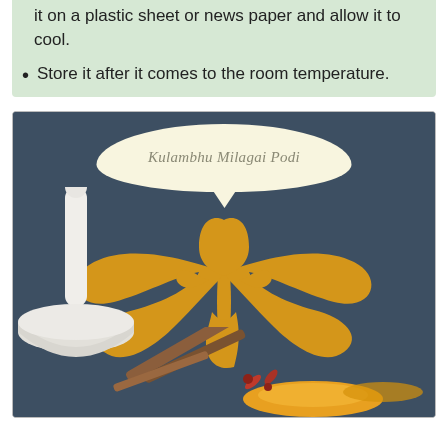it on a plastic sheet or news paper and allow it to cool.
Store it after it comes to the room temperature.
[Figure (illustration): Decorative image for 'Kulambhu Milagai Podi' recipe. Shows a dark slate-blue background with a large golden/amber ornamental fleur-de-lis style decorative design in the center. A speech-bubble shaped cream/light yellow oval at the top contains the cursive italic text 'Kulambhu Milagai Podi'. In the lower left is a white marble mortar and pestle. In the lower portion are scattered spices including cinnamon sticks, dried chilies, and yellow/orange turmeric powder.]